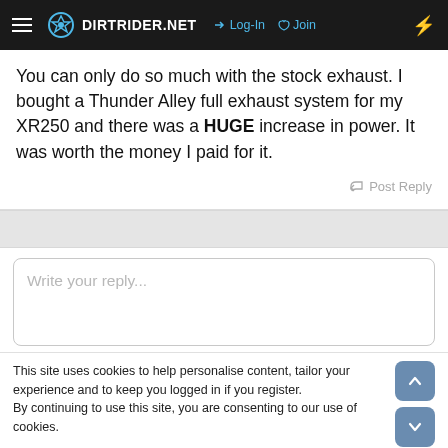DIRTRIDER.NET  →ↄ Log-In  🔑 Join  ⚡
You can only do so much with the stock exhaust. I bought a Thunder Alley full exhaust system for my XR250 and there was a HUGE increase in power. It was worth the money I paid for it.
↩ Post Reply
Write your reply...
This site uses cookies to help personalise content, tailor your experience and to keep you logged in if you register.
By continuing to use this site, you are consenting to our use of cookies.
✓ Accept   Learn more...